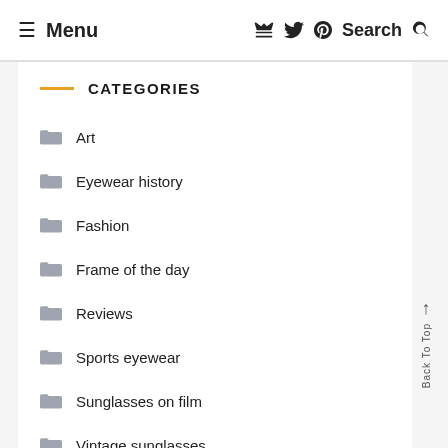≡ Menu   Twitter Pinterest   Search 🔍
CATEGORIES
Art
Eyewear history
Fashion
Frame of the day
Reviews
Sports eyewear
Sunglasses on film
Vintage sunglasses